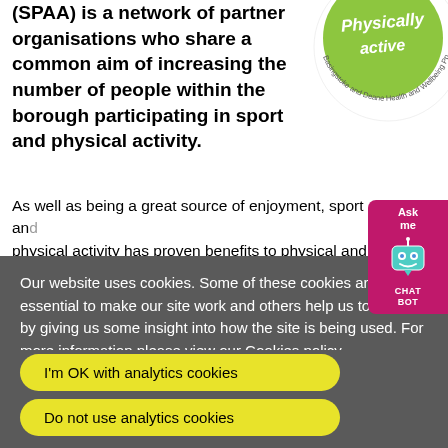(SPAA) is a network of partner organisations who share a common aim of increasing the number of people within the borough participating in sport and physical activity.
[Figure (logo): Green circular logo with text 'Physically active' and surrounding text 'Basingstoke and Deane Health and Wellbeing Pp...']
As well as being a great source of enjoyment, sport and physical activity has proven benefits to physical and [mental health...]
[Figure (other): Pink/magenta chatbot widget with 'Ask me' text and robot icon and 'CHAT BOT' label]
Our website uses cookies. Some of these cookies are essential to make our site work and others help us to improve by giving us some insight into how the site is being used. For more information please view our Cookies policy.
I'm OK with analytics cookies
Do not use analytics cookies